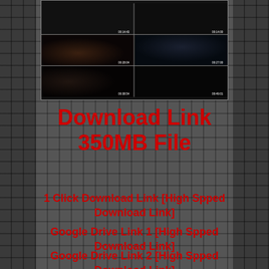[Figure (screenshot): 2x3 grid of dark movie/video thumbnails with timestamps]
Download Link 350MB File
1 Click Download Link [High Spped Download Link]
Google Drive Link 1 [High Spped Download Link]
Google Drive Link 2 [High Spped Download Link]